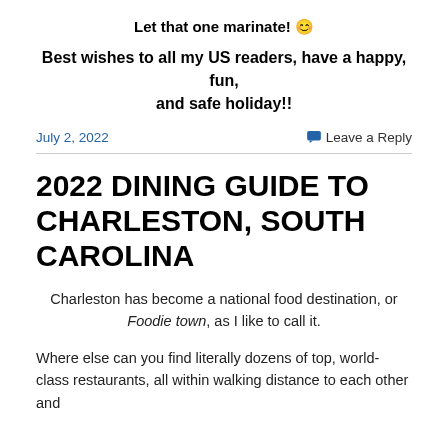Let that one marinate! 😊
Best wishes to all my US readers, have a happy, fun, and safe holiday!!
July 2, 2022
Leave a Reply
2022 DINING GUIDE TO CHARLESTON, SOUTH CAROLINA
Charleston has become a national food destination, or Foodie town, as I like to call it.
Where else can you find literally dozens of top, world-class restaurants, all within walking distance to each other and